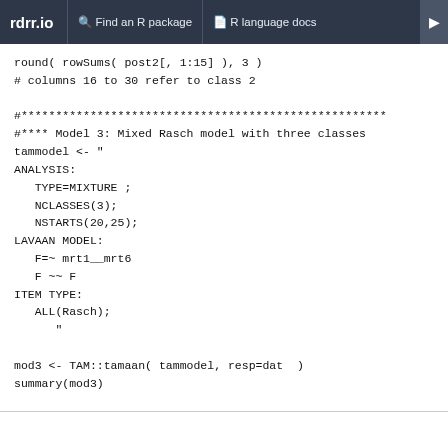rdrr.io   Find an R package   R language docs
round( rowSums( post2[, 1:15] ), 3 )
# columns 16 to 30 refer to class 2

#*********************************************************
#**** Model 3: Mixed Rasch model with three classes
tammodel <- "
ANALYSIS:
   TYPE=MIXTURE ;
   NCLASSES(3);
   NSTARTS(20,25);
LAVAAN MODEL:
   F=~ mrt1__mrt6
   F ~~ F
ITEM TYPE:
   ALL(Rasch);
      "

mod3 <- TAM::tamaan( tammodel, resp=dat  )
summary(mod3)